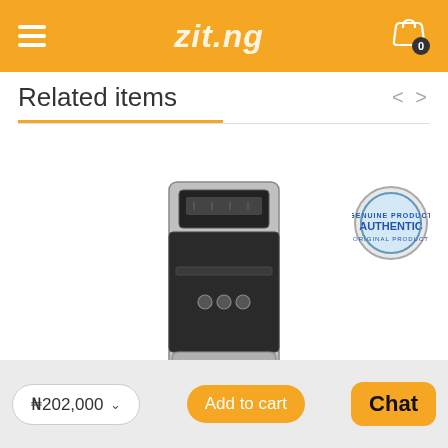zit.ng
Related items
[Figure (photo): A water dispenser (silver and black) with a display panel at the top and dispensing taps in the middle, standing upright. An 'Authentic Product' stamp/badge is visible in the upper right area of the image.]
₦202,000
Add to cart
Chat